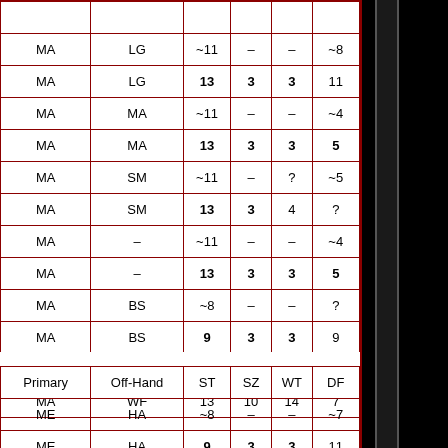| Primary | Off-Hand | ST | SZ | WT | DF |
| --- | --- | --- | --- | --- | --- |
| MA | LG | ~11 | – | – | ~8 |
| MA | LG | 13 | 3 | 3 | 11 |
| MA | MA | ~11 | – | – | ~4 |
| MA | MA | 13 | 3 | 3 | 5 |
| MA | SM | ~11 | – | ? | ~5 |
| MA | SM | 13 | 3 | 4 | ? |
| MA | – | ~11 | – | – | ~4 |
| MA | – | 13 | 3 | 3 | 5 |
| MA | BS | ~8 | – | – | ? |
| MA | BS | 9 | 3 | 3 | 9 |
| MA | WF | ? | ? | ? | ? |
| MA | WF | 13 | 10 | 14 | 7 |
| Primary | Off-Hand | ST | SZ | WT | DF |
| --- | --- | --- | --- | --- | --- |
| ME | HA | ~8 | – | – | ~7 |
| ME | HA | 9 | 3 | 3 | 11 |
| ME | ME | ~8 | – | – | ~6 |
| ME | ME | 9 | 3 | 3 | 7 |
| ME | SC | ~8 | – | – | ~11 |
| ME | SC | 9 | 3 | 3 | 17 |
| ME | SH | ~8 | – | – | ~8 |